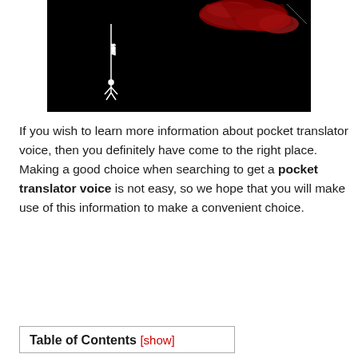[Figure (photo): Dark/black background image with red and white elements suggesting a performance or concert scene with a figure silhouetted against the darkness]
If you wish to learn more information about pocket translator voice, then you definitely have come to the right place. Making a good choice when searching to get a pocket translator voice is not easy, so we hope that you will make use of this information to make a convenient choice.
| Table of Contents [show] |
| --- |